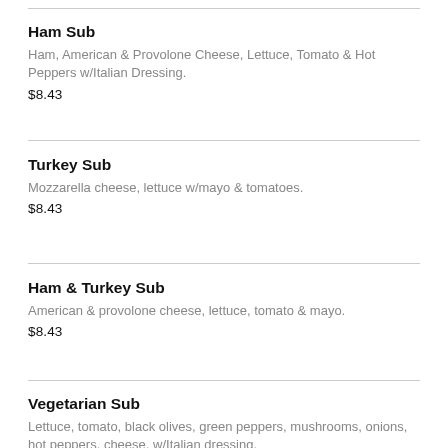Ham Sub
Ham, American & Provolone Cheese, Lettuce, Tomato & Hot Peppers w/Italian Dressing.
$8.43
Turkey Sub
Mozzarella cheese, lettuce w/mayo & tomatoes.
$8.43
Ham & Turkey Sub
American & provolone cheese, lettuce, tomato & mayo.
$8.43
Vegetarian Sub
Lettuce, tomato, black olives, green peppers, mushrooms, onions, hot peppers, cheese, w/Italian dressing.